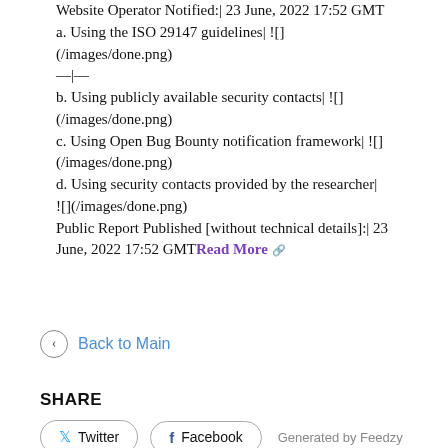Website Operator Notified:| 23 June, 2022 17:52 GMT
a. Using the ISO 29147 guidelines| ![](/images/done.png)
—|—
b. Using publicly available security contacts| ![](/images/done.png)
c. Using Open Bug Bounty notification framework| ![](/images/done.png)
d. Using security contacts provided by the researcher| ![](/images/done.png)
Public Report Published [without technical details]:| 23 June, 2022 17:52 GMTRead More
Back to Main
SHARE
Twitter  Facebook  Generated by Feedzy